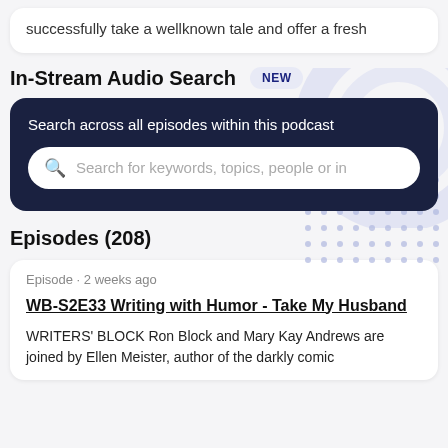successfully take a wellknown tale and offer a fresh
In-Stream Audio Search NEW
Search across all episodes within this podcast
Search for keywords, topics, people or in
Episodes (208)
Episode · 2 weeks ago
WB-S2E33 Writing with Humor - Take My Husband
WRITERS' BLOCK Ron Block and Mary Kay Andrews are joined by Ellen Meister, author of the darkly comic